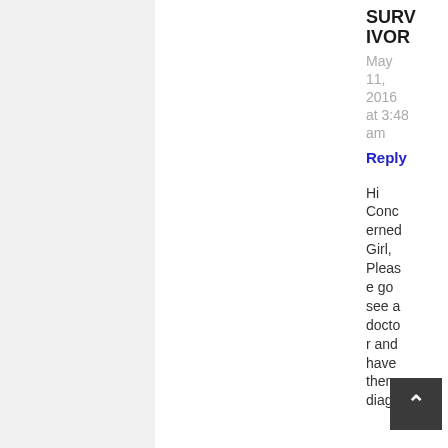SURVIVOR
May 11, 2016 at 3:48 am
Reply
Hi Concerned Girl, Please go see a doctor and have them diagn